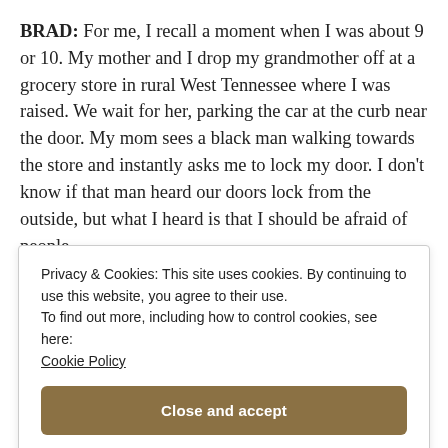BRAD: For me, I recall a moment when I was about 9 or 10. My mother and I drop my grandmother off at a grocery store in rural West Tennessee where I was raised. We wait for her, parking the car at the curb near the door. My mom sees a black man walking towards the store and instantly asks me to lock my door. I don't know if that man heard our doors lock from the outside, but what I heard is that I should be afraid of people
Privacy & Cookies: This site uses cookies. By continuing to use this website, you agree to their use.
To find out more, including how to control cookies, see here: Cookie Policy
spend more time presenting some facts to nail that